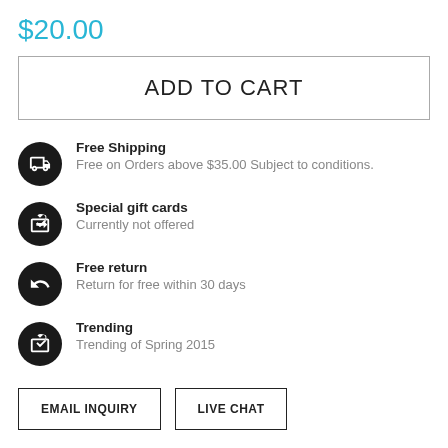$20.00
ADD TO CART
Free Shipping — Free on Orders above $35.00 Subject to conditions.
Special gift cards — Currently not offered
Free return — Return for free within 30 days
Trending — Trending of Spring 2015
EMAIL INQUIRY
LIVE CHAT
DESCRIPTION